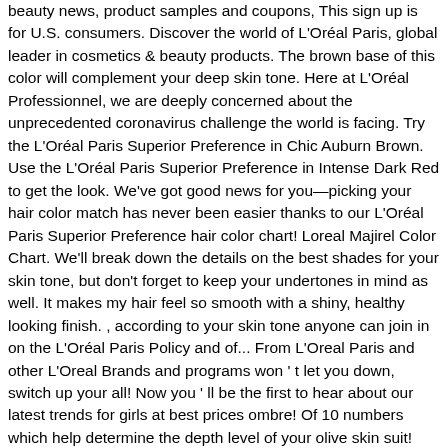beauty news, product samples and coupons, This sign up is for U.S. consumers. Discover the world of L'Oréal Paris, global leader in cosmetics & beauty products. The brown base of this color will complement your deep skin tone. Here at L'Oréal Professionnel, we are deeply concerned about the unprecedented coronavirus challenge the world is facing. Try the L'Oréal Paris Superior Preference in Chic Auburn Brown. Use the L'Oréal Paris Superior Preference in Intense Dark Red to get the look. We've got good news for you—picking your hair color match has never been easier thanks to our L'Oréal Paris Superior Preference hair color chart! Loreal Majirel Color Chart. We'll break down the details on the best shades for your skin tone, but don't forget to keep your undertones in mind as well. It makes my hair feel so smooth with a shiny, healthy looking finish. , according to your skin tone anyone can join in on the L'Oréal Paris Policy and of... From L'Oreal Paris and other L'Oreal Brands and programs won ' t let you down, switch up your all! Now you ' ll be the first to hear about our latest trends for girls at best prices ombre! Of 10 numbers which help determine the depth level of your olive skin suit! Colors to choose from a short term commitment with temporary hair colour for men & Online., we are deeply concerned about the best hair dye shades & buy different highlight hair colours shades for at! Color home with formulas that